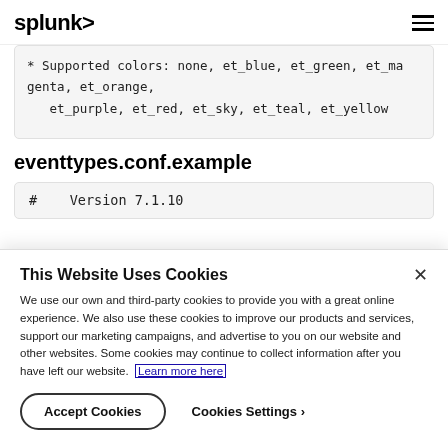splunk>
* Supported colors: none, et_blue, et_green, et_magenta, et_orange,
   et_purple, et_red, et_sky, et_teal, et_yellow
eventtypes.conf.example
#    Version 7.1.10
This Website Uses Cookies
We use our own and third-party cookies to provide you with a great online experience. We also use these cookies to improve our products and services, support our marketing campaigns, and advertise to you on our website and other websites. Some cookies may continue to collect information after you have left our website. Learn more here
Accept Cookies   Cookies Settings ›